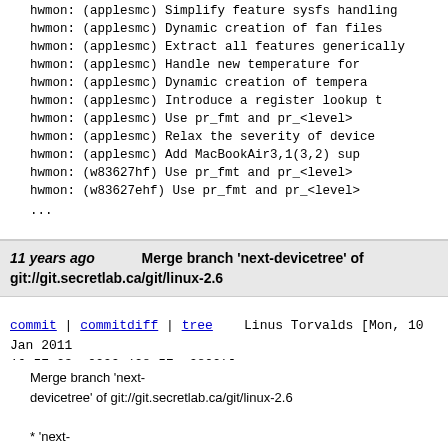hwmon: (applesmc) Simplify feature sysfs handling
hwmon: (applesmc) Dynamic creation of fan files
hwmon: (applesmc) Extract all features generically
hwmon: (applesmc) Handle new temperature format
hwmon: (applesmc) Dynamic creation of temperature
hwmon: (applesmc) Introduce a register lookup table
hwmon: (applesmc) Use pr_fmt and pr_<level>
hwmon: (applesmc) Relax the severity of device
hwmon: (applesmc) Add MacBookAir3,1(3,2) support
hwmon: (w83627hf) Use pr_fmt and pr_<level>
hwmon: (w83627ehf) Use pr_fmt and pr_<level>
...
11 years ago   Merge branch 'next-devicetree' of git://git.secretlab.ca/git/linux-2.6
commit | commitdiff | tree   Linus Torvalds [Mon, 10 Jan 2011 16:57:03 +0000 (08:57 -0800)]
Merge branch 'next-devicetree' of git://git.secretlab.ca/git/linux-2.6

* 'next-devicetree' of git://git.secretlab.ca/git/linux-2.6: (29 commits)
  of/flattree: forward declare struct device_node in
  ipmi: explicitly include of_address.h and of_irq.h
  sparc: explicitly cast negative phandle checks to
  powerpc/405: Fix missing #{address,size}-cells in i2c node